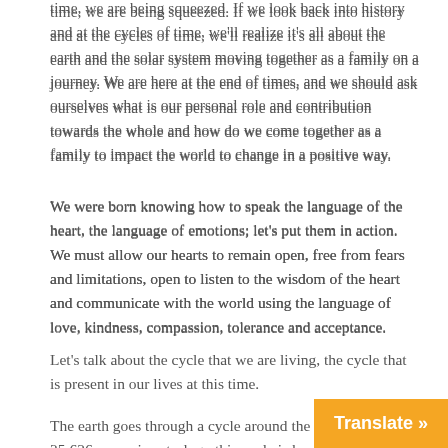time, we are being squeezed. If we look back into history and at the cycles of time, we'll realize it's all about the earth and the solar system moving together as a family on a journey. We are here at the end of times, and we should ask ourselves what is our personal role and contribution towards the whole and how do we come together as a family to impact the world to change in a positive way.
We were born knowing how to speak the language of the heart, the language of emotions; let's put them in action. We must allow our hearts to remain open, free from fears and limitations, open to listen to the wisdom of the heart and communicate with the world using the language of love, kindness, compassion, tolerance and acceptance.
Let's talk about the cycle that we are living, the cycle that is present in our lives at this time.
The earth goes through a cycle around the solar system of 25,626 years; in astrology this cycle is kno[wn as the pre]cession of the equinoxes. The Mayas divide[d...]